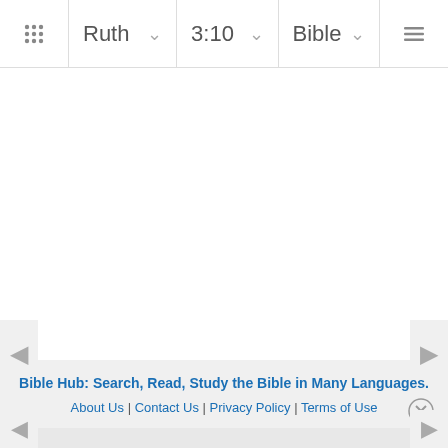Ruth | 3:10 | Bible
Bible Hub: Search, Read, Study the Bible in Many Languages.
About Us | Contact Us | Privacy Policy | Terms of Use